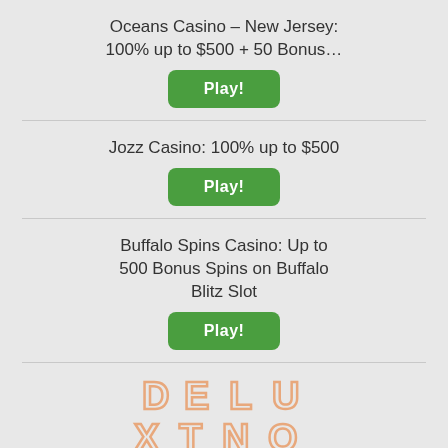Oceans Casino – New Jersey: 100% up to $500 + 50 Bonus…
Play!
Jozz Casino: 100% up to $500
Play!
Buffalo Spins Casino: Up to 500 Bonus Spins on Buffalo Blitz Slot
Play!
[Figure (logo): Deluxino Casino logo with stylized letters D E L U X T N O in outline peach/salmon color]
Deluxino Casino: 50% up to £50 + 20 Bonus Spins